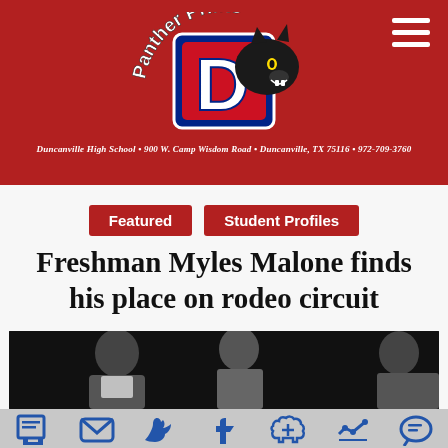[Figure (logo): Panther Prints logo with Duncanville High School panther mascot and stylized D letter, on red background]
Duncanville High School • 900 W. Camp Wisdom Road • Duncanville, TX 75116 • 972-708-3760
Featured
Student Profiles
Freshman Myles Malone finds his place on rodeo circuit
[Figure (photo): Photo of students/people against dark background, partially visible]
[Figure (infographic): Social sharing bar with print, email, Twitter, Facebook, like, and comment icons]